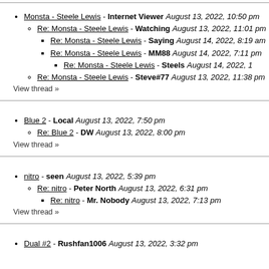Monsta - Steele Lewis - Internet Viewer August 13, 2022, 10:50 pm
Re: Monsta - Steele Lewis - Watching August 13, 2022, 11:01 pm
Re: Monsta - Steele Lewis - Saying August 14, 2022, 8:19 am
Re: Monsta - Steele Lewis - MM88 August 14, 2022, 7:11 pm
Re: Monsta - Steele Lewis - Steels August 14, 2022,
Re: Monsta - Steele Lewis - Steve#77 August 13, 2022, 11:38 pm
View thread »
Blue 2 - Local August 13, 2022, 7:50 pm
Re: Blue 2 - DW August 13, 2022, 8:00 pm
View thread »
nitro - seen August 13, 2022, 5:39 pm
Re: nitro - Peter North August 13, 2022, 6:31 pm
Re: nitro - Mr. Nobody August 13, 2022, 7:13 pm
View thread »
Dual #2 - Rushfan1006 August 13, 2022, 3:32 pm